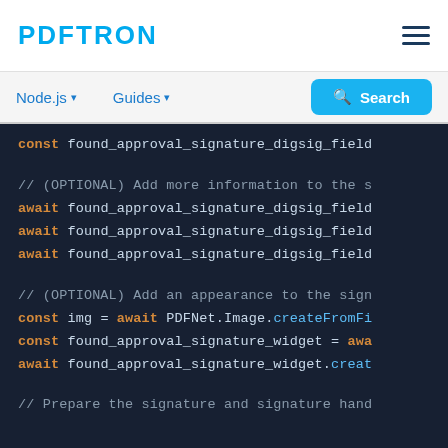PDFTRON
Node.js ▾   Guides ▾   Search
const found_approval_signature_digsig_field

// (OPTIONAL) Add more information to the s
await found_approval_signature_digsig_field
await found_approval_signature_digsig_field
await found_approval_signature_digsig_field

// (OPTIONAL) Add an appearance to the sign
const img = await PDFNet.Image.createFromFi
const found_approval_signature_widget = awa
await found_approval_signature_widget.creat

// Prepare the signature and signature hand